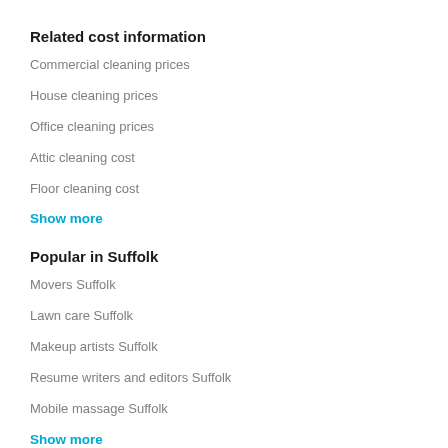Related cost information
Commercial cleaning prices
House cleaning prices
Office cleaning prices
Attic cleaning cost
Floor cleaning cost
Show more
Popular in Suffolk
Movers Suffolk
Lawn care Suffolk
Makeup artists Suffolk
Resume writers and editors Suffolk
Mobile massage Suffolk
Show more